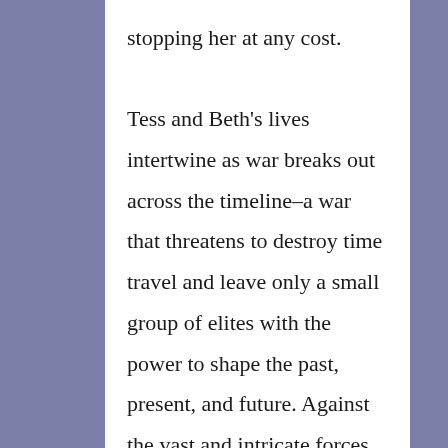stopping her at any cost.

Tess and Beth's lives intertwine as war breaks out across the timeline–a war that threatens to destroy time travel and leave only a small group of elites with the power to shape the past, present, and future. Against the vast and intricate forces of history and humanity, is it possible for a single person's actions to echo throughout the